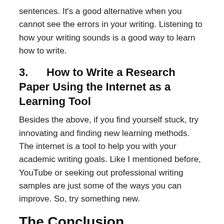sentences. It's a good alternative when you cannot see the errors in your writing. Listening to how your writing sounds is a good way to learn how to write.
3.      How to Write a Research Paper Using the Internet as a Learning Tool
Besides the above, if you find yourself stuck, try innovating and finding new learning methods. The internet is a tool to help you with your academic writing goals. Like I mentioned before, YouTube or seeking out professional writing samples are just some of the ways you can improve. So, try something new.
The Conclusion
Whether you're searching for legal writing help using law coursework students use or trying to work out how to